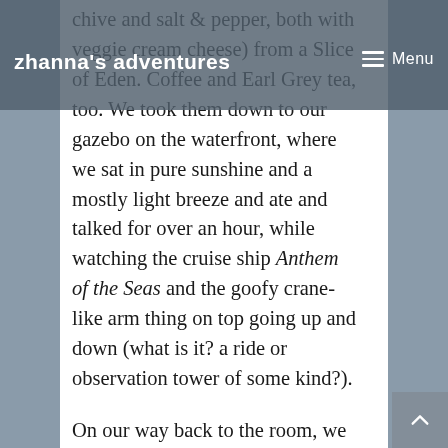zhanna's adventures   Menu
chive and salt & pepper, both with veggie cream cheese) from a Slice of Eden. Coffee and Earl Grey tea, too. We took them down to our gazebo on the waterfront, where we sat in pure sunshine and a mostly light breeze and ate and talked for over an hour, while watching the cruise ship Anthem of the Seas and the goofy crane-like arm thing on top going up and down (what is it? a ride or observation tower of some kind?).
On our way back to the room, we happened to notice a silver loon charm in the window of the shop where we bought a charm last year (the Russian dance party place) and we stopped in to buy the loon, of course, because it reminds us of the loon